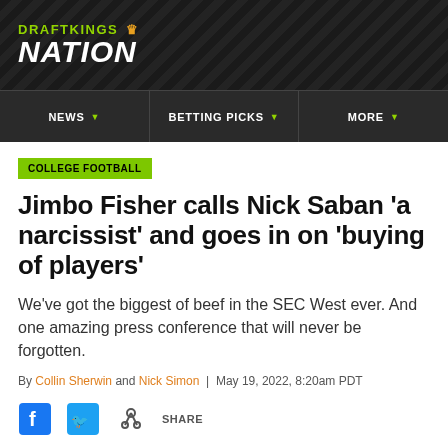DRAFTKINGS NATION
NEWS | BETTING PICKS | MORE
COLLEGE FOOTBALL
Jimbo Fisher calls Nick Saban ‘a narcissist’ and goes in on ‘buying of players’
We’ve got the biggest of beef in the SEC West ever. And one amazing press conference that will never be forgotten.
By Collin Sherwin and Nick Simon | May 19, 2022, 8:20am PDT